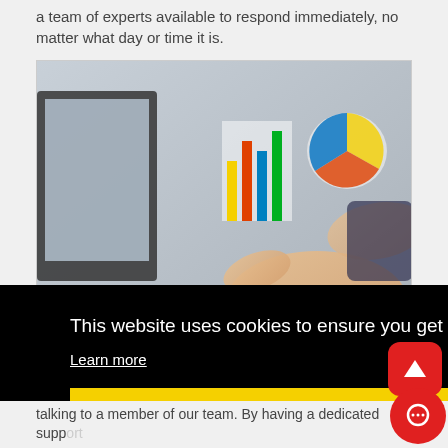a team of experts available to respond immediately, no matter what day or time it is.
[Figure (photo): Two people working at computers, one pointing at a screen showing colourful charts, the other typing on a keyboard. Close-up office/business setting.]
This website uses cookies to ensure you get the best experience on our website. Learn more
Got it!
talking to a member of our team. By having a dedicated support